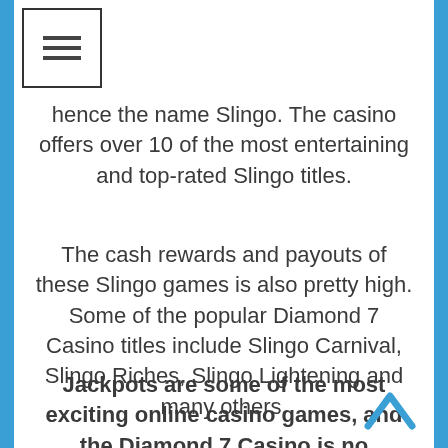☰ (menu button)
hence the name Slingo. The casino offers over 10 of the most entertaining and top-rated Slingo titles.
The cash rewards and payouts of these Slingo games is also pretty high. Some of the popular Diamond 7 Casino titles include Slingo Carnival, Slingo Riches, Slingo Lightening and many others.
Jackpots are some of the most exciting online casino games, and the Diamond 7 Casino is no exception. The players can enjoy over 9 of the most popular jackpot games at the Diamond 7 Casino.
All these jackpot titles are progressive which means no limit on the cash reward, instead it